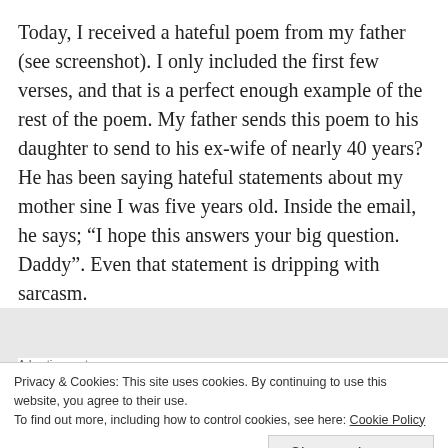Today, I received a hateful poem from my father (see screenshot). I only included the first few verses, and that is a perfect enough example of the rest of the poem. My father sends this poem to his daughter to send to his ex-wife of nearly 40 years?  He has been saying hateful statements about my mother sine I was five years old. Inside the email, he says; “I hope this answers your big question. Daddy”. Even that statement is dripping with sarcasm.
[Figure (screenshot): Advertisement banner showing purple, teal shapes and orange shape with text 'How to start selling']
Privacy & Cookies: This site uses cookies. By continuing to use this website, you agree to their use.
To find out more, including how to control cookies, see here: Cookie Policy
Close and accept
that is no excuse for his bad behavior. He is